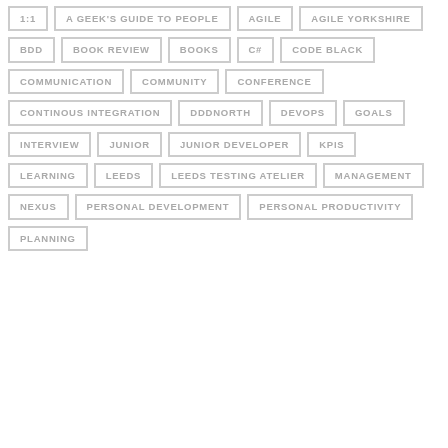1:1
A GEEK'S GUIDE TO PEOPLE
AGILE
AGILE YORKSHIRE
BDD
BOOK REVIEW
BOOKS
C#
CODE BLACK
COMMUNICATION
COMMUNITY
CONFERENCE
CONTINOUS INTEGRATION
DDDNORTH
DEVOPS
GOALS
INTERVIEW
JUNIOR
JUNIOR DEVELOPER
KPIS
LEARNING
LEEDS
LEEDS TESTING ATELIER
MANAGEMENT
NEXUS
PERSONAL DEVELOPMENT
PERSONAL PRODUCTIVITY
PLANNING